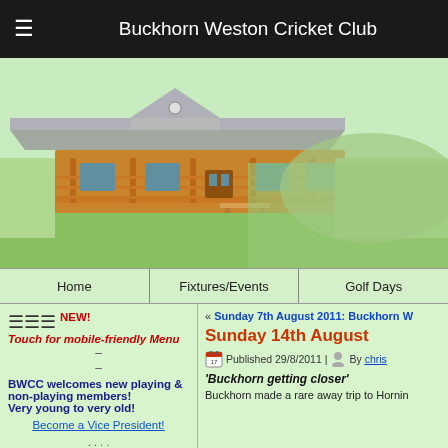Buckhorn Weston Cricket Club
[Figure (photo): Cricket clubhouse building — a wooden structure with a metal roof, porch railing, and green grass field in front]
Home | Fixtures/Events | Golf Days
NEW! Touch for mobile-friendly Menu
–
–
BWCC welcomes new playing & non-playing members! Very young to very old!
Become a Vice President!
. . . .
« Sunday 7th August 2011: Buckhorn W
Sunday 14th August
Published 29/8/2011 | By chris
'Buckhorn getting closer'
Buckhorn made a rare away trip to Hornin